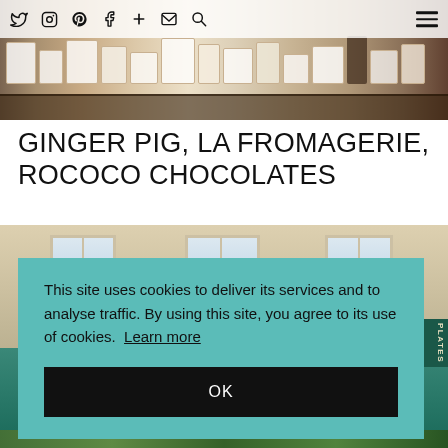Social media icons: Twitter, Instagram, Pinterest, Facebook, Plus, Email, Search; Hamburger menu
[Figure (photo): Interior shop photo showing shelves with packaged goods and products displayed on wooden trays]
GINGER PIG, LA FROMAGERIE, ROCOCO CHOCOLATES
[Figure (photo): Exterior photo of a building with stone/brick facade, large windows, and a teal/dark green shop front with a sign reading PLATES]
This site uses cookies to deliver its services and to analyse traffic. By using this site, you agree to its use of cookies. Learn more
OK